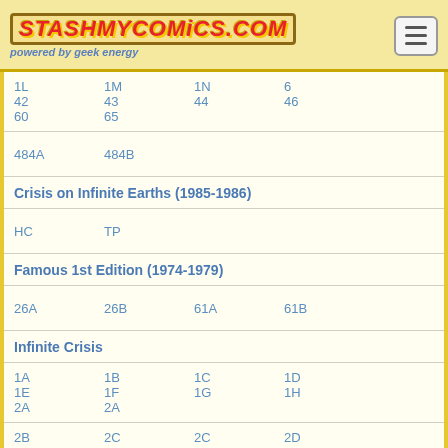StashMyComics.com — powered by geek energy
1L 1M 1N 6 42 43 44 46 60 65
484A 484B
Crisis on Infinite Earths (1985-1986)
HC TP
Famous 1st Edition (1974-1979)
26A 26B 61A 61B
Infinite Crisis
1A 1B 1C 1D 1E 1F 1G 1H 2A 2A
2B 2C 2C 2D 2D 2E 2E 2F 2F 3A
3C 4A 4B 4C 4D 4E 4F 4G 5A 5B
5D 5E
Millennium Edition: Action Comics